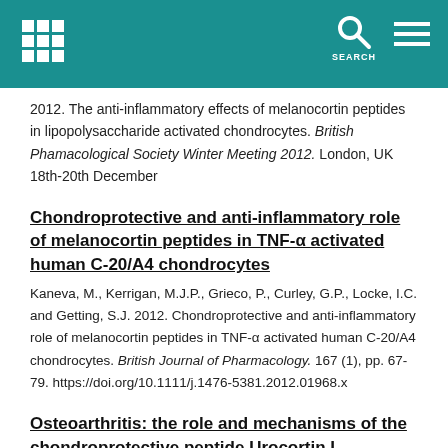SEARCH
2012. The anti-inflammatory effects of melanocortin peptides in lipopolysaccharide activated chondrocytes. British Phamacological Society Winter Meeting 2012. London, UK 18th-20th December
Chondroprotective and anti-inflammatory role of melanocortin peptides in TNF-α activated human C-20/A4 chondrocytes
Kaneva, M., Kerrigan, M.J.P., Grieco, P., Curley, G.P., Locke, I.C. and Getting, S.J. 2012. Chondroprotective and anti-inflammatory role of melanocortin peptides in TNF-α activated human C-20/A4 chondrocytes. British Journal of Pharmacology. 167 (1), pp. 67-79. https://doi.org/10.1111/j.1476-5381.2012.01968.x
Osteoarthritis: the role and mechanisms of the chondroprotective peptide Urocortin I
White, O.B. 2011. Osteoarthritis: the role and mechanisms of the chondroprotective peptide Urocortin I. PhD thesis University of